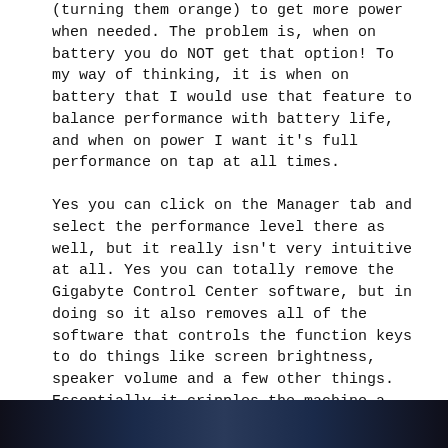(turning them orange) to get more power when needed. The problem is, when on battery you do NOT get that option! To my way of thinking, it is when on battery that I would use that feature to balance performance with battery life, and when on power I want it's full performance on tap at all times.
Yes you can click on the Manager tab and select the performance level there as well, but it really isn't very intuitive at all. Yes you can totally remove the Gigabyte Control Center software, but in doing so it also removes all of the software that controls the function keys to do things like screen brightness, speaker volume and a few other things. Essentially it cripples the machine a little forcing you to use Windows 10 software to adjust screen brightness and volume etc, which is less convenient.
[Figure (photo): Partial image visible at the bottom of the page, appears to be a dark-colored laptop or device photo]